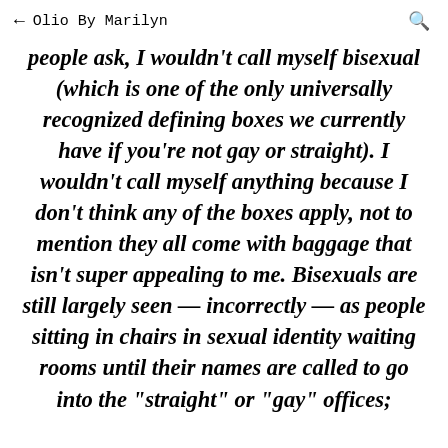← Olio By Marilyn 🔍
people ask, I wouldn't call myself bisexual (which is one of the only universally recognized defining boxes we currently have if you're not gay or straight). I wouldn't call myself anything because I don't think any of the boxes apply, not to mention they all come with baggage that isn't super appealing to me. Bisexuals are still largely seen — incorrectly — as people sitting in chairs in sexual identity waiting rooms until their names are called to go into the "straight" or "gay" offices;